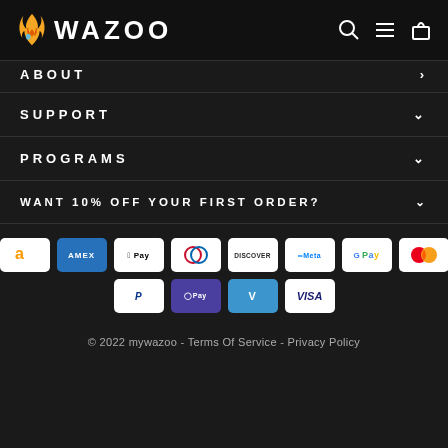WAZOO
ABOUT
SUPPORT
PROGRAMS
WANT 10% OFF YOUR FIRST ORDER?
[Figure (other): Payment method icons: Amazon, Amex, Apple Pay, Diners, Discover, Meta Pay, Google Pay, Mastercard, PayPal, OPay, Venmo, Visa]
© 2022 mywazoo - Terms Of Service - Privacy Policy